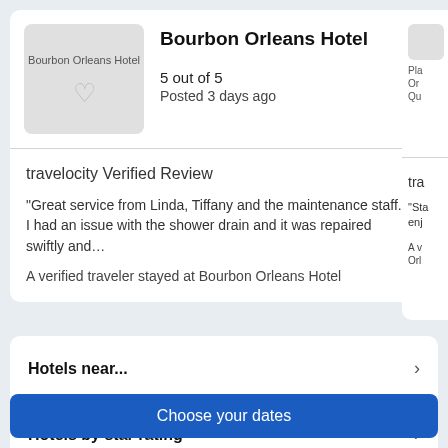Bourbon Orleans Hotel
5 out of 5
Posted 3 days ago
travelocity Verified Review
"Great service from Linda, Tiffany and the maintenance staff. I had an issue with the shower drain and it was repaired swiftly and…
A verified traveler stayed at Bourbon Orleans Hotel
Hotels near...
Hotels by star rating
Choose your dates